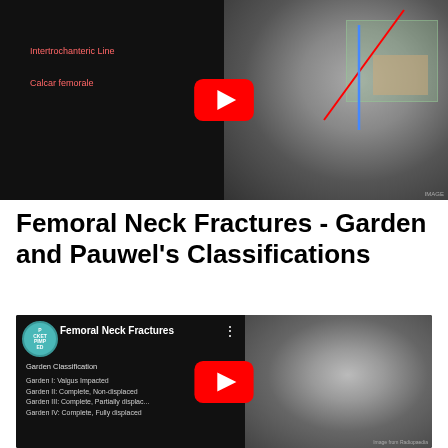[Figure (screenshot): Top video thumbnail: educational medical video showing femur anatomy with labeled 'Intertrochanteric Line' and 'Calcar femorale' on a dark background, alongside an X-ray image of the hip with red and blue lines drawn on it. A YouTube play button is overlaid in the center.]
Femoral Neck Fractures - Garden and Pauwel's Classifications
[Figure (screenshot): Bottom video thumbnail: 'Femoral Neck Fractures' video from Pocket Pimped channel. Left side shows text 'Garden Classification' with Garden I-IV descriptions (Valgus impacted, Complete Non-displaced, Complete Partially displaced, Complete Fully displaced). Right side shows an X-ray of the hip joint. YouTube play button overlaid in center.]